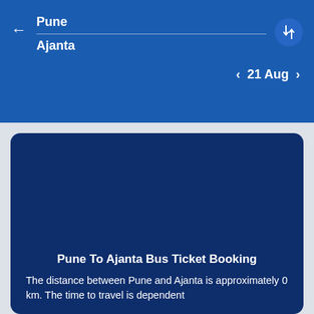Pune
Ajanta
21 Aug
Pune To Ajanta Bus Ticket Booking
The distance between Pune and Ajanta is approximately 0 km. The time to travel is dependent